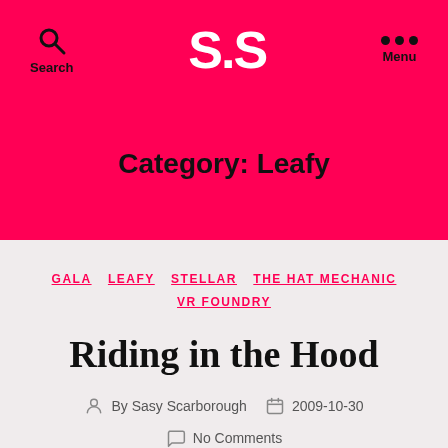S.S — Search | Menu
Category: Leafy
GALA  LEAFY  STELLAR  THE HAT MECHANIC  VR FOUNDRY
Riding in the Hood
By Sasy Scarborough   2009-10-30   No Comments